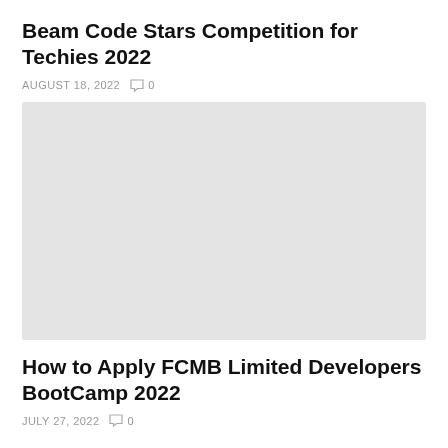Beam Code Stars Competition for Techies 2022
AUGUST 18, 2022   0
[Figure (photo): Placeholder image (light gray rectangle) for the Beam Code Stars Competition article]
How to Apply FCMB Limited Developers BootCamp 2022
JULY 27, 2022   0